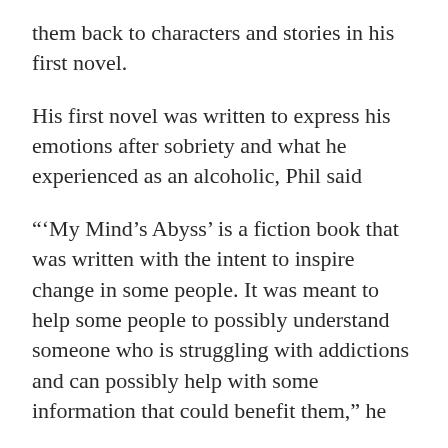them back to characters and stories in his first novel.
His first novel was written to express his emotions after sobriety and what he experienced as an alcoholic, Phil said
“‘My Mind’s Abyss’ is a fiction book that was written with the intent to inspire change in some people. It was meant to help some people to possibly understand someone who is struggling with addictions and can possibly help with some information that could benefit them,” he